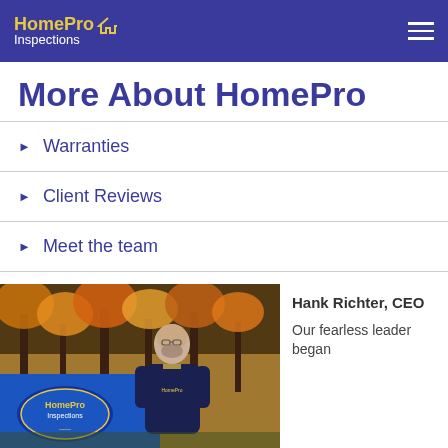HomePro Inspections
More About HomePro
Warranties
Client Reviews
Meet the team
Sample Report
[Figure (photo): Man standing in front of HomePro Inspections van outdoors with autumn foliage in background]
Hank Richter, CEO

Our fearless leader began